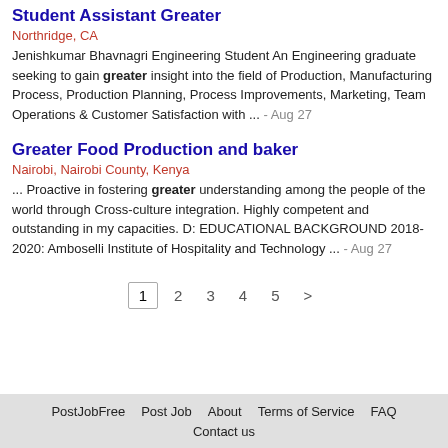Student Assistant Greater
Northridge, CA
Jenishkumar Bhavnagri Engineering Student An Engineering graduate seeking to gain greater insight into the field of Production, Manufacturing Process, Production Planning, Process Improvements, Marketing, Team Operations & Customer Satisfaction with ... - Aug 27
Greater Food Production and baker
Nairobi, Nairobi County, Kenya
... Proactive in fostering greater understanding among the people of the world through Cross-culture integration. Highly competent and outstanding in my capacities. D: EDUCATIONAL BACKGROUND 2018-2020: Amboselli Institute of Hospitality and Technology ... - Aug 27
PostJobFree  Post Job  About  Terms of Service  FAQ  Contact us